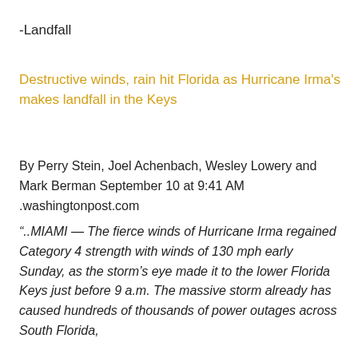-Landfall
Destructive winds, rain hit Florida as Hurricane Irma's makes landfall in the Keys
By Perry Stein, Joel Achenbach, Wesley Lowery and Mark Berman September 10 at 9:41 AM .washingtonpost.com
“..MIAMI — The fierce winds of Hurricane Irma regained Category 4 strength with winds of 130 mph early Sunday, as the storm’s eye made it to the lower Florida Keys just before 9 a.m. The massive storm already has caused hundreds of thousands of power outages across South Florida,